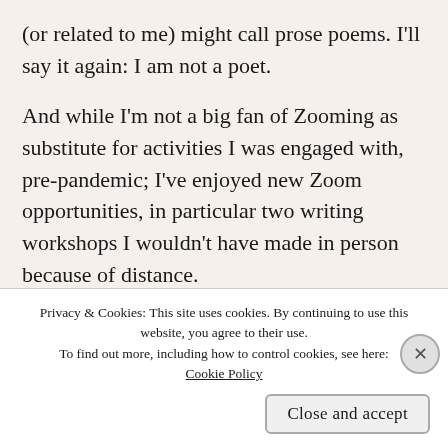(or related to me) might call prose poems. I'll say it again: I am not a poet.
And while I'm not a big fan of Zooming as substitute for activities I was engaged with, pre-pandemic; I've enjoyed new Zoom opportunities, in particular two writing workshops I wouldn't have made in person because of distance.
I thought of these workshops, one I attended just y... m...
Privacy & Cookies: This site uses cookies. By continuing to use this website, you agree to their use. To find out more, including how to control cookies, see here: Cookie Policy
Close and accept